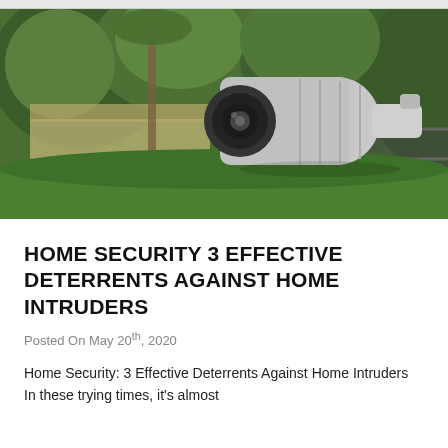[Figure (photo): A bullet-style security camera mounted outdoors, with a blurred background showing a green suburban yard with trees and a house.]
HOME SECURITY 3 EFFECTIVE DETERRENTS AGAINST HOME INTRUDERS
Posted On May 20th, 2020
Home Security: 3 Effective Deterrents Against Home Intruders   In these trying times, it's almost